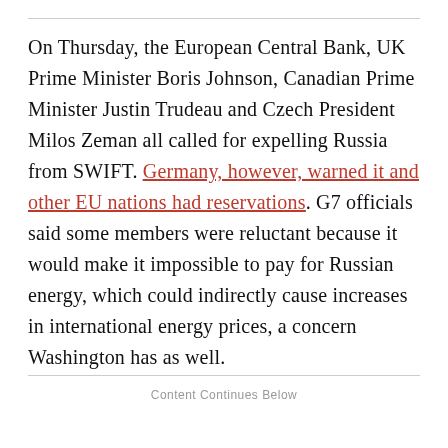On Thursday, the European Central Bank, UK Prime Minister Boris Johnson, Canadian Prime Minister Justin Trudeau and Czech President Milos Zeman all called for expelling Russia from SWIFT. Germany, however, warned it and other EU nations had reservations. G7 officials said some members were reluctant because it would make it impossible to pay for Russian energy, which could indirectly cause increases in international energy prices, a concern Washington has as well.
Content Continues Below